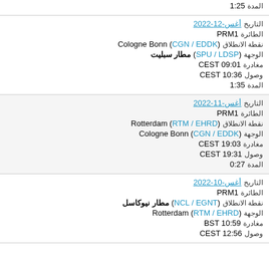1:25 المدة
التاريخ 12-أغس-2022
الطائرة PRM1
نقطة الانطلاق Cologne Bonn (CGN / EDDK)
الوجهة مطار سبليت (SPU / LDSP)
مغادرة CEST 09:01
وصول CEST 10:36
المدة 1:35
التاريخ 11-أغس-2022
الطائرة PRM1
نقطة الانطلاق Rotterdam (RTM / EHRD)
الوجهة Cologne Bonn (CGN / EDDK)
مغادرة CEST 19:03
وصول CEST 19:31
المدة 0:27
التاريخ 10-أغس-2022
الطائرة PRM1
نقطة الانطلاق مطار نيوكاسل (NCL / EGNT)
الوجهة Rotterdam (RTM / EHRD)
مغادرة BST 10:59
وصول CEST 12:56